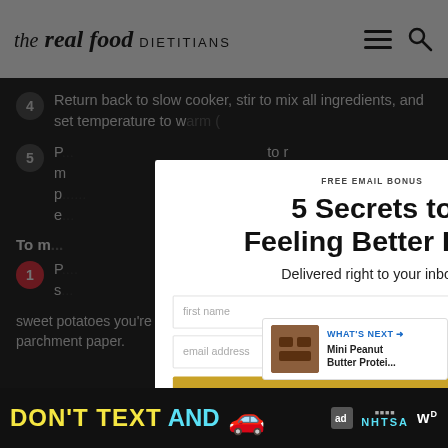the real food DIETITIANS
Return back to slow cooker, stir to mix all ingredients, and set temperature to warm (
P... to r... p... e,
To m...
P... king s... sweet potatoes you're going to bake) with parchment paper.
FREE EMAIL BONUS
5 Secrets to Feeling Better Fast
Delivered right to your inbox!
first name
email address
YES, I NEED THIS!
WHAT'S NEXT → Mini Peanut Butter Protei...
DON'T TEXT AND [car emoji] ad NHTSA